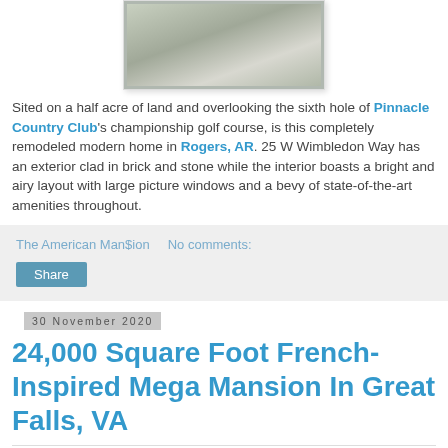[Figure (photo): Aerial or angled photo of a stone/concrete surface (golf course area) with grass and shadows visible]
Sited on a half acre of land and overlooking the sixth hole of Pinnacle Country Club's championship golf course, is this completely remodeled modern home in Rogers, AR. 25 W Wimbledon Way has an exterior clad in brick and stone while the interior boasts a bright and airy layout with large picture windows and a bevy of state-of-the-art amenities throughout.
The American Man$ion   No comments:
Share
30 November 2020
24,000 Square Foot French-Inspired Mega Mansion In Great Falls, VA